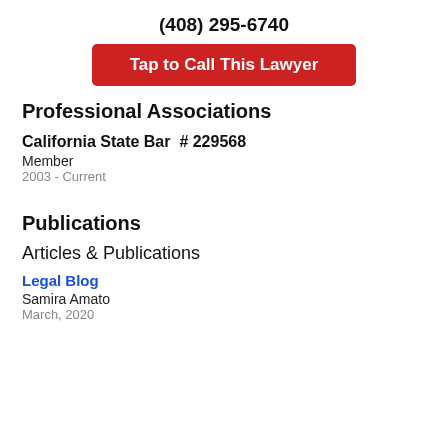(408) 295-6740
[Figure (other): Red button labeled 'Tap to Call This Lawyer']
Professional Associations
California State Bar  # 229568
Member
2003 - Current
Publications
Articles & Publications
Legal Blog
Samira Amato
March, 2020